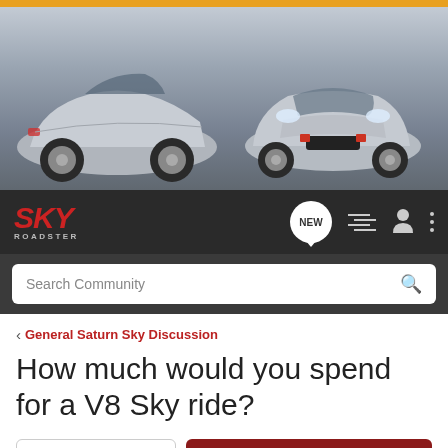[Figure (photo): Two silver Saturn Sky Roadster convertibles on a road, one viewed from the rear and one from the front, against a grey sky background. An orange bar runs along the very top.]
SKY ROADSTER
Search Community
< General Saturn Sky Discussion
How much would you spend for a V8 Sky ride?
→ Jump to Latest
+ Follow
How far would you travel to experience a V8